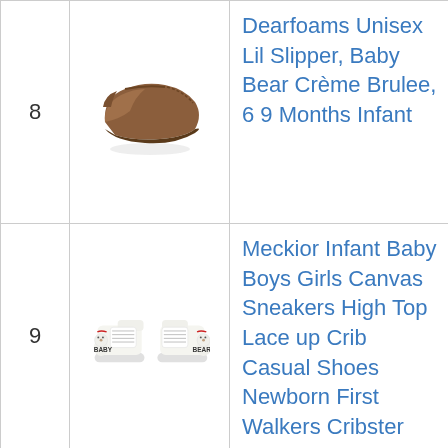| # | Image | Product |
| --- | --- | --- |
| 8 | [brown leather baby slipper] | Dearfoams Unisex Lil Slipper, Baby Bear Crème Brulee, 6 9 Months Infant |
| 9 | [white canvas baby bear sneakers] | Meckior Infant Baby Boys Girls Canvas Sneakers High Top Lace up Crib Casual Shoes Newborn First Walkers Cribster |